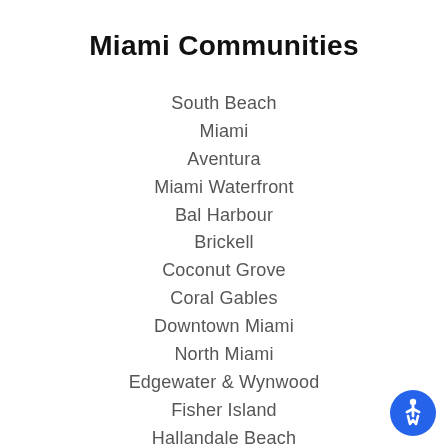Miami Communities
South Beach
Miami
Aventura
Miami Waterfront
Bal Harbour
Brickell
Coconut Grove
Coral Gables
Downtown Miami
North Miami
Edgewater & Wynwood
Fisher Island
Hallandale Beach
Hollywood
Key Biscayne
Miami Beach
Midtown Miami
North Bay Village
Sunny Isles Beach
[Figure (illustration): Accessibility icon button — blue circle with white wheelchair user symbol]